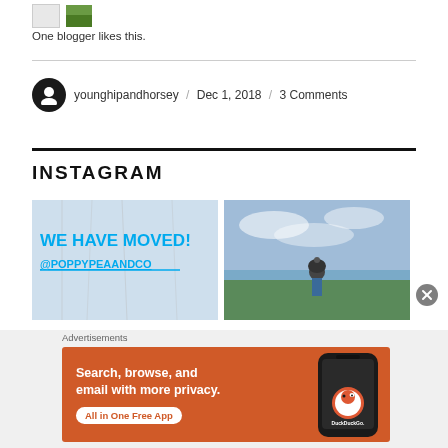[Figure (photo): Two small avatar images: a grey placeholder and a green thumbnail photo]
One blogger likes this.
younghipandhorsey / Dec 1, 2018 / 3 Comments
INSTAGRAM
[Figure (photo): Instagram image: WE HAVE MOVED! @POPPYPEAANDCO text in cyan on light background with trees]
[Figure (photo): Instagram image: person in bicycle helmet outdoors against cloudy sky]
Advertisements
[Figure (screenshot): DuckDuckGo advertisement banner: Search, browse, and email with more privacy. All in One Free App. Orange background with phone mockup.]